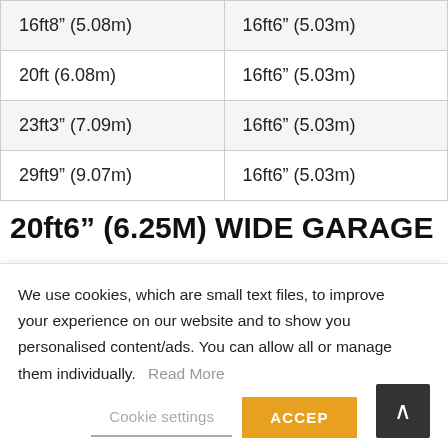| 16ft8" (5.08m) | 16ft6" (5.03m) |
| 20ft (6.08m) | 16ft6" (5.03m) |
| 23ft3" (7.09m) | 16ft6" (5.03m) |
| 29ft9" (9.07m) | 16ft6" (5.03m) |
20ft6" (6.25M) WIDE GARAGE – DOUBLE
We use cookies, which are small text files, to improve your experience on our website and to show you personalised content/ads. You can allow all or manage them individually. Read More